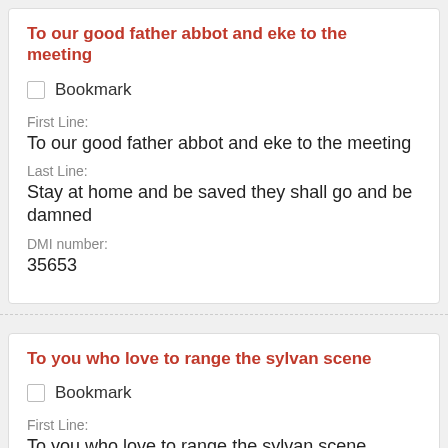To our good father abbot and eke to the meeting
Bookmark
First Line:
To our good father abbot and eke to the meeting
Last Line:
Stay at home and be saved they shall go and be damned
DMI number:
35653
To you who love to range the sylvan scene
Bookmark
First Line:
To you who love to range the sylvan scene